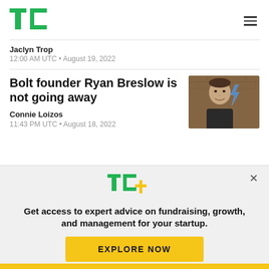TechCrunch
Jaclyn Trop
12:00 AM UTC • August 19, 2022
Bolt founder Ryan Breslow is not going away
Connie Loizos
11:43 PM UTC • August 18, 2022
[Figure (photo): Photo of Ryan Breslow smiling with Bolt lightning bolt logo behind him]
Get access to expert advice on fundraising, growth, and management for your startup.
EXPLORE NOW